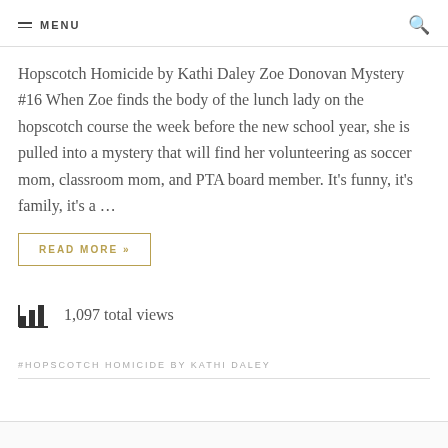MENU
Hopscotch Homicide by Kathi Daley Zoe Donovan Mystery #16 When Zoe finds the body of the lunch lady on the hopscotch course the week before the new school year, she is pulled into a mystery that will find her volunteering as soccer mom, classroom mom, and PTA board member. It's funny, it's family, it's a …
READ MORE »
1,097 total views
#HOPSCOTCH HOMICIDE BY KATHI DALEY